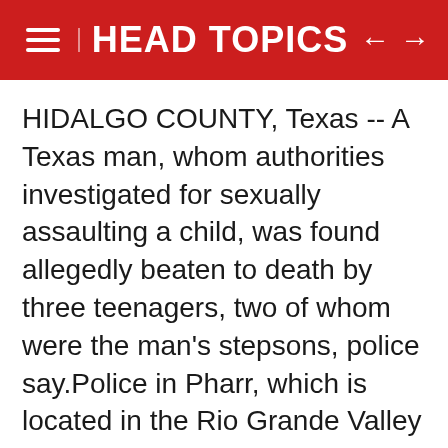HEAD TOPICS
HIDALGO COUNTY, Texas -- A Texas man, whom authorities investigated for sexually assaulting a child, was found allegedly beaten to death by three teenagers, two of whom were the man's stepsons, police say.Police in Pharr, which is located in the Rio Grande Valley in south Texas,